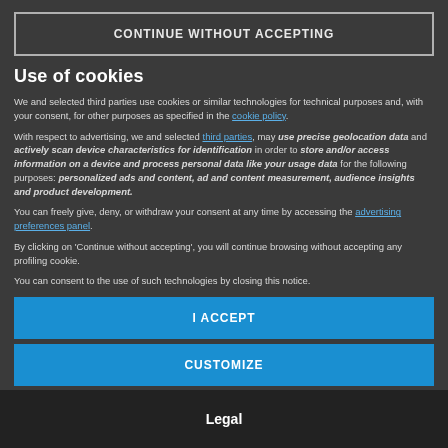CONTINUE WITHOUT ACCEPTING
Use of cookies
We and selected third parties use cookies or similar technologies for technical purposes and, with your consent, for other purposes as specified in the cookie policy.
With respect to advertising, we and selected third parties, may use precise geolocation data and actively scan device characteristics for identification in order to store and/or access information on a device and process personal data like your usage data for the following purposes: personalized ads and content, ad and content measurement, audience insights and product development.
You can freely give, deny, or withdraw your consent at any time by accessing the advertising preferences panel.
By clicking on 'Continue without accepting', you will continue browsing without accepting any profiling cookie.
You can consent to the use of such technologies by closing this notice.
I ACCEPT
CUSTOMIZE
Legal